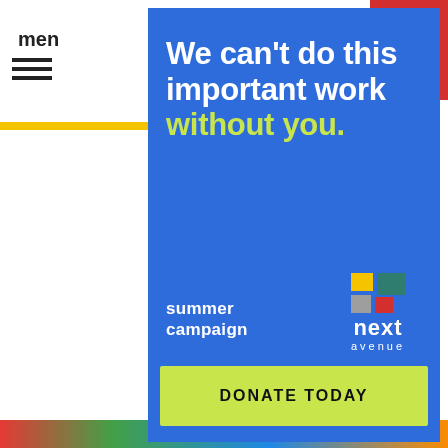menu
[Figure (infographic): Next Avenue summer campaign donation modal overlay on a website. Blue background with white bold text 'We can't do this important work' and yellow-green text 'without you.' Below is 'summer campaign' text on the left, Next Avenue logo with colorful squares on the right, and a yellow-green 'DONATE TODAY' button at the bottom.]
We can't do this important work without you.
summer campaign
DONATE TODAY